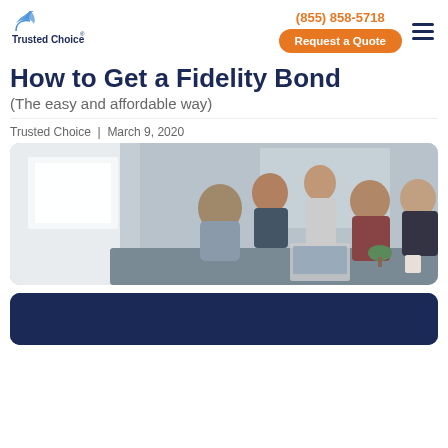Trusted Choice | (855) 858-5718 | Request a Quote
How to Get a Fidelity Bond
(The easy and affordable way)
Trusted Choice  |  March 9, 2020
[Figure (photo): Group of five office workers gathered around a conference table reviewing documents and working on laptops in a modern office setting.]
[Figure (other): Dark navy blue CTA box at the bottom of the page, partially visible.]